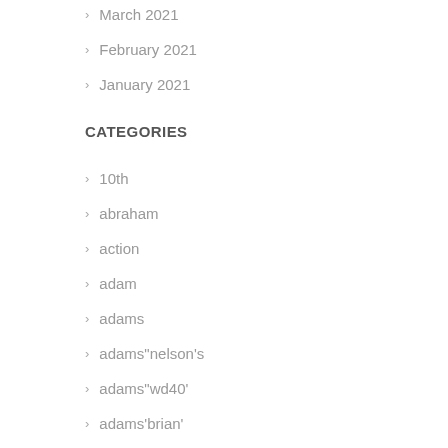March 2021
February 2021
January 2021
CATEGORIES
10th
abraham
action
adam
adams
adams"nelson's
adams"wd40'
adams'brian'
adams'british
adams'bruce